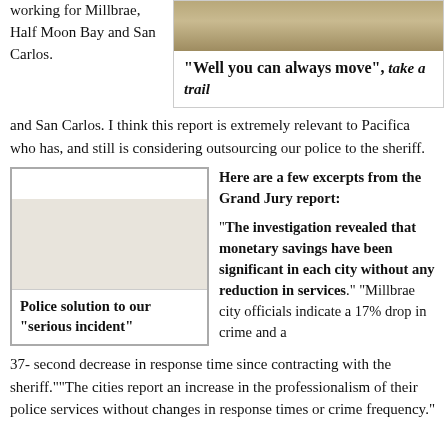working for Millbrae, Half Moon Bay and San Carlos. I think this report is extremely relevant to Pacifica who has, and still is considering outsourcing our police to the sheriff.
[Figure (photo): Sepia-toned historical photo, partially visible at top of page]
"Well you can always move", take a trail
[Figure (photo): Placeholder image area within bordered box. Caption reads: Police solution to our "serious incident"]
Police solution to our "serious incident"
Here are a few excerpts from the Grand Jury report:

"The investigation revealed that monetary savings have been significant in each city without any reduction in services." "Millbrae city officials indicate a 17% drop in crime and a 37- second decrease in response time since contracting with the sheriff.""The cities report an increase in the professionalism of their police services without changes in response times or crime frequency."